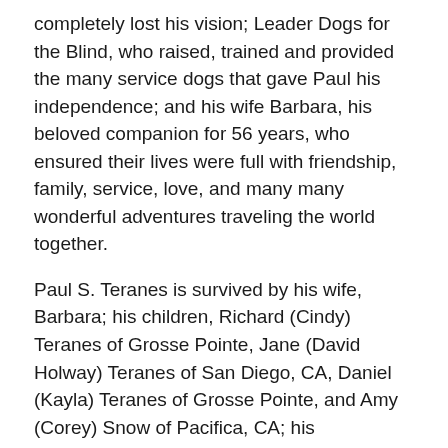completely lost his vision; Leader Dogs for the Blind, who raised, trained and provided the many service dogs that gave Paul his independence; and his wife Barbara, his beloved companion for 56 years, who ensured their lives were full with friendship, family, service, love, and many many wonderful adventures traveling the world together.
Paul S. Teranes is survived by his wife, Barbara; his children, Richard (Cindy) Teranes of Grosse Pointe, Jane (David Holway) Teranes of San Diego, CA, Daniel (Kayla) Teranes of Grosse Pointe, and Amy (Corey) Snow of Pacifica, CA; his grandchildren Ethan, Carter, Cole, Camryn, Lorenzo, Eva, Marcella, Anderson, Alpheus and Greta; and his trusted Leader Dog, Morgan. He was preceded in death by his parents and his siblings, Dorthey Drahos and Richard Teranes.